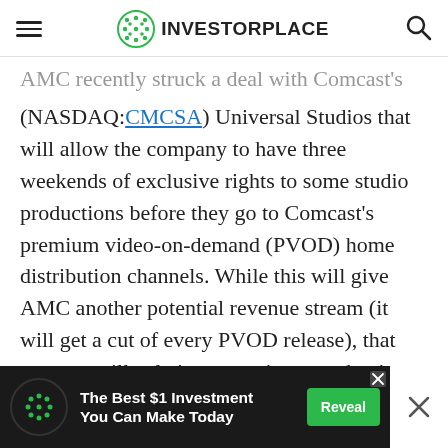INVESTORPLACE
AMC recently struck a deal with Comcast's (NASDAQ:CMCSA) Universal Studios that will allow the company to have three weekends of exclusive rights to some studio productions before they go to Comcast's premium video-on-demand (PVOD) home distribution channels. While this will give AMC another potential revenue stream (it will get a cut of every PVOD release), that revenue will pale in comparison to what it gets from the box office.
AMC stock is up over 130% from its April low.
[Figure (infographic): Advertisement banner: The Best $1 Investment You Can Make Today, with a Reveal button]